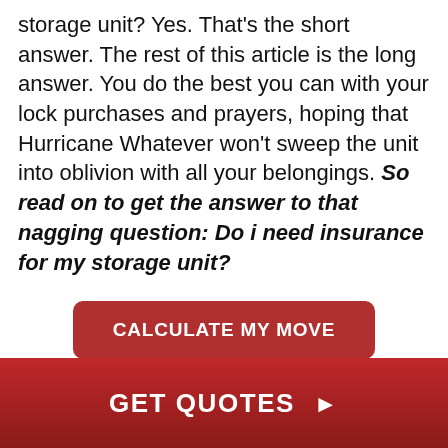storage unit? Yes. That's the short answer. The rest of this article is the long answer. You do the best you can with your lock purchases and prayers, hoping that Hurricane Whatever won't sweep the unit into oblivion with all your belongings. So read on to get the answer to that nagging question: Do i need insurance for my storage unit?
[Figure (other): Red rounded button with text 'CALCULATE MY MOVE']
GET QUOTES ▶